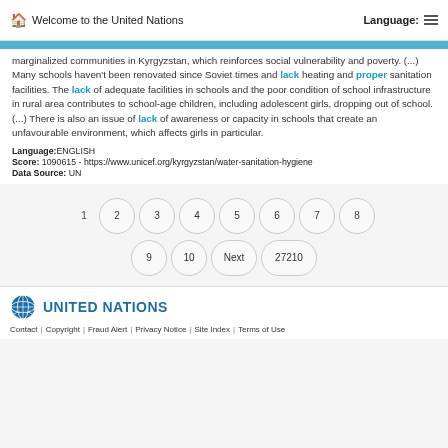Welcome to the United Nations  Language:
marginalized communities in Kyrgyzstan, which reinforces social vulnerability and poverty. (...) Many schools haven’t been renovated since Soviet times and lack heating and proper sanitation facilities. The lack of adequate facilities in schools and the poor condition of school infrastructure in rural area contributes to school-age children, including adolescent girls, dropping out of school. (...) There is also an issue of lack of awareness or capacity in schools that create an unfavourable environment, which affects girls in particular.
Language:ENGLISH
Score: 1090615 - https://www.unicef.org/kyrgyzstan/water-sanitation-hygiene
Data Source: UN
1
2
3
4
5
6
7
8
9
10
Next
27210
UNITED NATIONS  Contact | Copyright | Fraud Alert | Privacy Notice | Site Index | Terms of Use